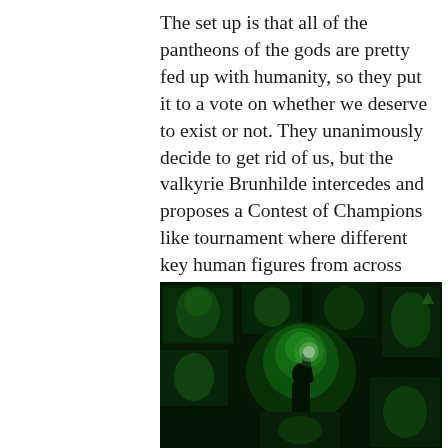The set up is that all of the pantheons of the gods are pretty fed up with humanity, so they put it to a vote on whether we deserve to exist or not. They unanimously decide to get rid of us, but the valkyrie Brunhilde intercedes and proposes a Contest of Champions like tournament where different key human figures from across our history will battle against the most powerful gods.
[Figure (photo): A dark, dramatically lit scene bathed in deep green light. A silhouetted figure stands in the center holding a glowing light aloft, surrounded by large screen panels or murals displaying ghostly green-tinted faces and figures.]